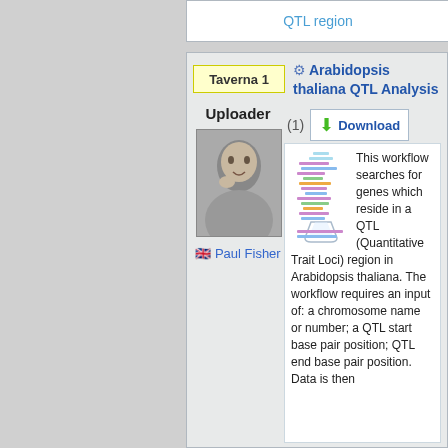QTL region
Arabidopsis thaliana QTL Analysis
Taverna 1
Uploader
[Figure (photo): Black and white photo of a person]
Paul Fisher
(1)
Download
[Figure (illustration): Workflow diagram showing a chromosome/gene visualization with colored bars representing QTL regions]
This workflow searches for genes which reside in a QTL (Quantitative Trait Loci) region in Arabidopsis thaliana. The workflow requires an input of: a chromosome name or number; a QTL start base pair position; QTL end base pair position. Data is then